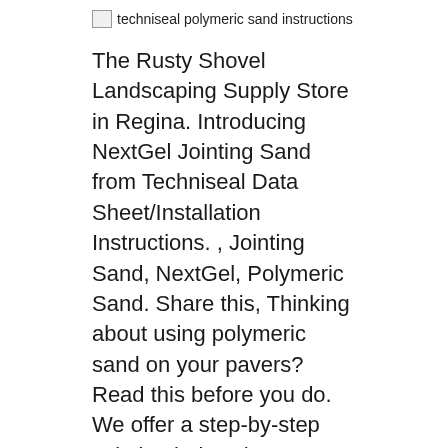[Figure (other): Broken image placeholder with alt text: techniseal polymeric sand instructions]
The Rusty Shovel Landscaping Supply Store in Regina. Introducing NextGel Jointing Sand from Techniseal Data Sheet/Installation Instructions. , Jointing Sand, NextGel, Polymeric Sand. Share this, Thinking about using polymeric sand on your pavers? Read this before you do. We offer a step-by-step solution below that’s an alternative to polymeric sand.
Polymeric Sand for Pavers Why You Should Use It
[Figure (other): Broken image placeholder with alt text: techniseal polymeric sand instructions]